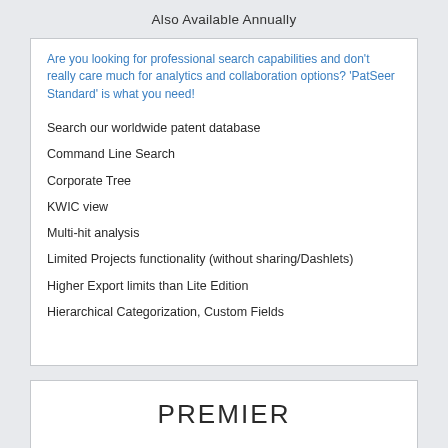Also Available Annually
Are you looking for professional search capabilities and don't really care much for analytics and collaboration options? 'PatSeer Standard' is what you need!
Search our worldwide patent database
Command Line Search
Corporate Tree
KWIC view
Multi-hit analysis
Limited Projects functionality (without sharing/Dashlets)
Higher Export limits than Lite Edition
Hierarchical Categorization, Custom Fields
PREMIER